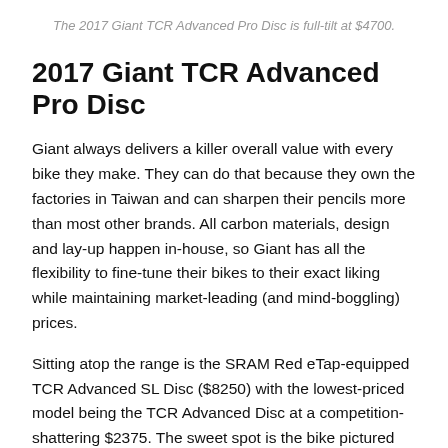The 2017 Giant TCR Advanced Pro Disc is full-tilt at $4700.
2017 Giant TCR Advanced Pro Disc
Giant always delivers a killer overall value with every bike they make. They can do that because they own the factories in Taiwan and can sharpen their pencils more than most other brands. All carbon materials, design and lay-up happen in-house, so Giant has all the flexibility to fine-tune their bikes to their exact liking while maintaining market-leading (and mind-boggling) prices.
Sitting atop the range is the SRAM Red eTap-equipped TCR Advanced SL Disc ($8250) with the lowest-priced model being the TCR Advanced Disc at a competition-shattering $2375. The sweet spot is the bike pictured above, the TCR Advanced Pro Disc with tubeless-ready